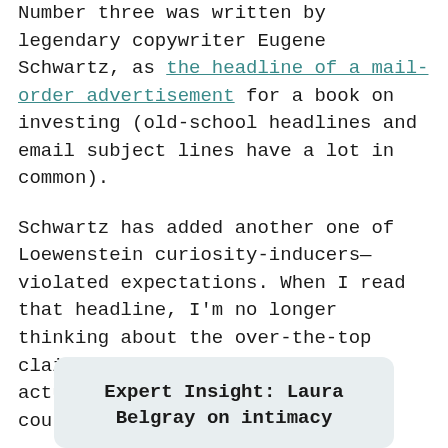Number three was written by legendary copywriter Eugene Schwartz, as the headline of a mail-order advertisement for a book on investing (old-school headlines and email subject lines have a lot in common).
Schwartz has added another one of Loewenstein curiosity-inducers—violated expectations. When I read that headline, I'm no longer thinking about the over-the-top claim ($500,000 per year). I'm actually asking myself if I have courage.
Which brings us to the next point—strong emotions.
Expert Insight: Laura Belgray on intimacy